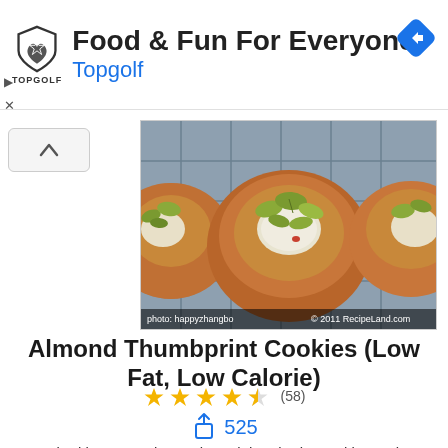[Figure (logo): Ad banner for Topgolf: shield logo, text 'Food & Fun For Everyone', subtitle 'Topgolf', navigation diamond icon]
[Figure (photo): Close-up photo of almond thumbprint cookies topped with pistachios and white filling on a cooling rack. Photo credit: happyzhangbo. © 2011 RecipeLand.com]
Almond Thumbprint Cookies (Low Fat, Low Calorie)
★★★★☆ (58)
525
Inspired by 1986 winner almond thumbprint cookies recipe, we came out an idea to make this low fat and low calorie version. The cookies came out absolutely delicious